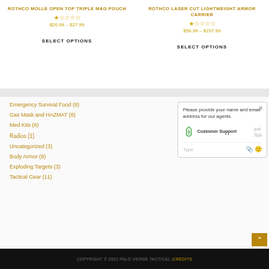ROTHCO MOLLE OPEN TOP TRIPLE MAG POUCH
☆☆☆☆☆
$20.99 – $27.99
SELECT OPTIONS
ROTHCO LASER CUT LIGHTWEIGHT ARMOR CARRIER
☆☆☆☆☆
$56.99 – $157.99
SELECT OPTIONS
Emergency Survival Food (9)
Gas Mask and HAZMAT (8)
Med Kits (8)
Radios (1)
Uncategorized (3)
Body Armor (8)
Exploding Targets (3)
Tactical Gear (11)
Please provide your name and email address for our agents.
Customer Support   just now
Type
COPYRIGHT © 2022 PALO VERDE TACTICAL | CREDITS